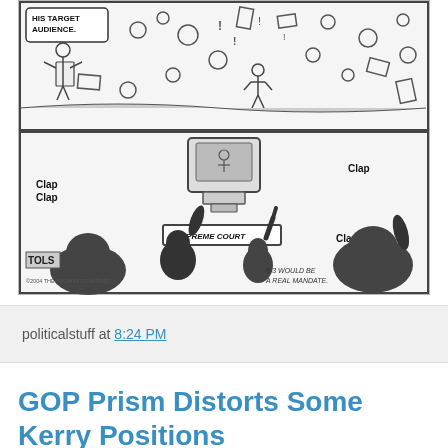[Figure (illustration): Political cartoon by Toles for The Washington Post. Two-panel comic strip. Top panel shows chaotic scene with speech bubble saying 'HIS TARGET AUDIENCE.' with scattered objects and figures. Bottom panel shows Supreme Court justices watching something on TV, with audience members clapping. Labels read 'Clap Clap' on left, 'Clap' on upper right and lower right. A 'SUPREME COURT' sign is visible. Caption at bottom right reads '6-3 WOULD BE A REAL MANDATE.' Copyright 2004 The Washington Post.]
politicalstuff at 8:24 PM
GOP Prism Distorts Some Kerry Positions